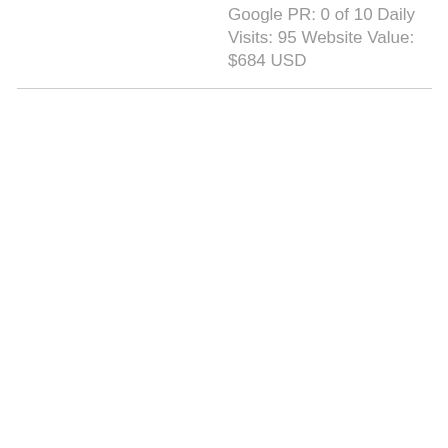Google PR: 0 of 10 Daily Visits: 95 Website Value: $684 USD